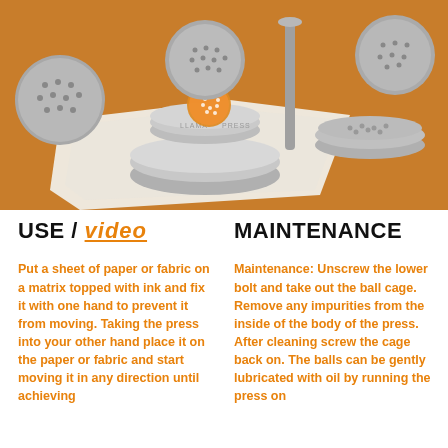[Figure (photo): Photo of Llama Press printing tools — metallic circular stamps/matrices and an orange ball press on an orange/tan background with white paper]
USE / video
MAINTENANCE
Put a sheet of paper or fabric on a matrix topped with ink and fix it with one hand to prevent it from moving. Taking the press into your other hand place it on the paper or fabric and start moving it in any direction until achieving
Maintenance: Unscrew the lower bolt and take out the ball cage. Remove any impurities from the inside of the body of the press. After cleaning screw the cage back on. The balls can be gently lubricated with oil by running the press on